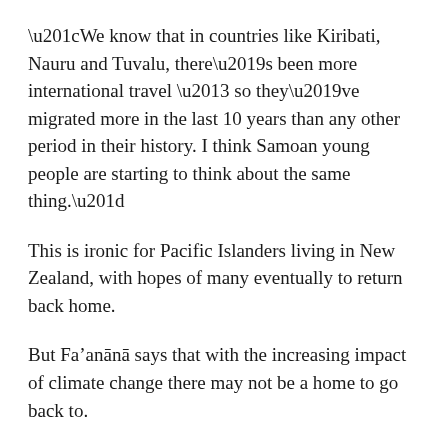“We know that in countries like Kiribati, Nauru and Tuvalu, there’s been more international travel – so they’ve migrated more in the last 10 years than any other period in their history. I think Samoan young people are starting to think about the same thing.”
This is ironic for Pacific Islanders living in New Zealand, with hopes of many eventually to return back home.
But Fa’anānā says that with the increasing impact of climate change there may not be a home to go back to.
“I know for New Zealand-born Samoans like myself, we often talk about wanting to go back, or our parents retiring back to Samoa because the land is special to our parents generation – and it’s special to us.
“We are going to lose that sense of ‘specialness’ if we are thinking